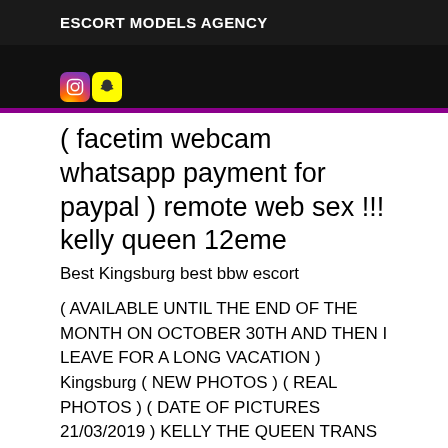ESCORT MODELS AGENCY
[Figure (photo): Dark photo strip with social media icons (Instagram and Snapchat) visible at the bottom left, purple border at the bottom]
( facetim webcam whatsapp payment for paypal ) remote web sex !!! kelly queen 12eme
Best Kingsburg best bbw escort
( AVAILABLE UNTIL THE END OF THE MONTH ON OCTOBER 30TH AND THEN I LEAVE FOR A LONG VACATION ) Kingsburg ( NEW PHOTOS ) ( REAL PHOTOS ) ( DATE OF PICTURES 21/03/2019 ) KELLY THE QUEEN TRANS VIP RESIDENT SINCE 19 YEARS IN KINGSBURG 12TH, I PROPOSE A GOOD KISS OR DOMINATION I AM EXPERT AND EQUIPPED FOR EROTIC GAMES, * SOFT, DOMINATION AND HUMILATION SESSION, FETCHISM OF FEET, TESTICULA, GOLDEN FIELD, CRU WORDS. i am always dressed with one of my very nice sexy or fetishi